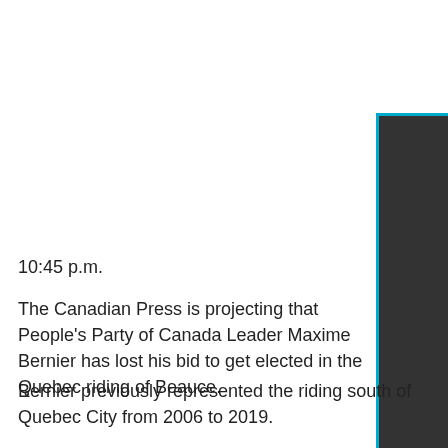[Figure (other): Dark rectangular panel with cyan/blue left and top border on the right side of the page]
10:45 p.m.
The Canadian Press is projecting that People's Party of Canada Leader Maxime Bernier has lost his bid to get elected in the Quebec riding of Beauce.
Bernier previously represented the riding south of Quebec City from 2006 to 2019.